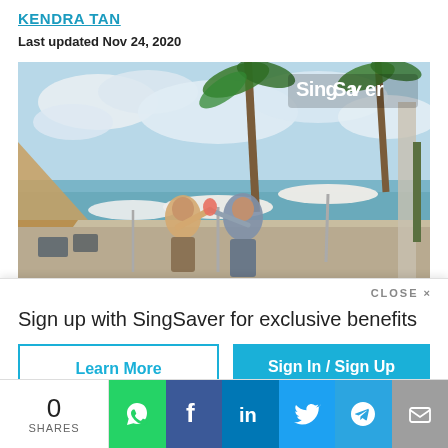KENDRA TAN
Last updated Nov 24, 2020
[Figure (photo): Two women toasting drinks at an outdoor beach bar with palm trees, umbrellas and water in background. SingSaver logo in top right corner.]
CLOSE ×
Sign up with SingSaver for exclusive benefits
Learn More
Sign In / Sign Up
0
SHARES